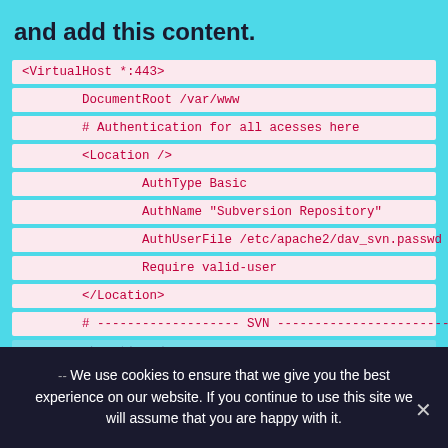and add this content.
<VirtualHost *:443>
DocumentRoot /var/www
# Authentication for all acesses here
<Location />
AuthType Basic
AuthName "Subversion Repository"
AuthUserFile /etc/apache2/dav_svn.passwd
Require valid-user
</Location>
# ------------------- SVN ---------------------------
<Location /svn>
DAV svn
SVNParentPath /var/svn
-- We use cookies to ensure that we give you the best experience on our website. If you continue to use this site we will assume that you are happy with it.